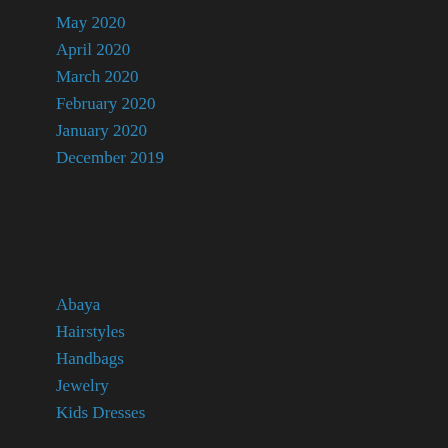May 2020
April 2020
March 2020
February 2020
January 2020
December 2019
Abaya
Hairstyles
Handbags
Jewelry
Kids Dresses